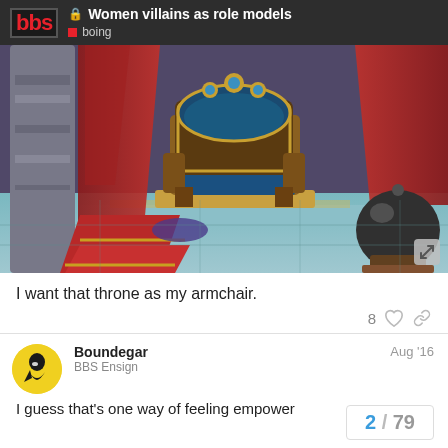Women villains as role models | boing
[Figure (illustration): A fantasy throne room scene showing an ornate golden throne with blue velvet cushioning, red drapes on the left, stone column, and a dark sphere/bomb on a pedestal on the right. The floor has teal tiles and steps.]
I want that throne as my armchair.
Boundegar
BBS Ensign
Aug '16
I guess that's one way of feeling empower